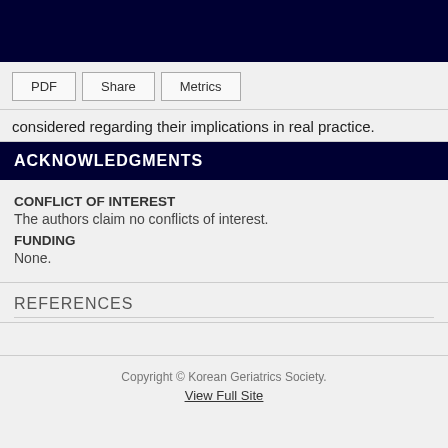considered regarding their implications in real practice.
ACKNOWLEDGMENTS
CONFLICT OF INTEREST
The authors claim no conflicts of interest.
FUNDING
None.
REFERENCES
Copyright © Korean Geriatrics Society.
View Full Site